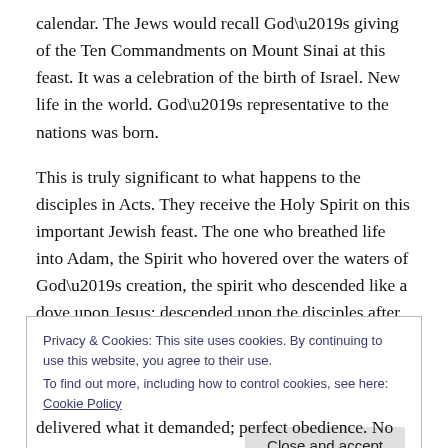calendar. The Jews would recall God’s giving of the Ten Commandments on Mount Sinai at this feast. It was a celebration of the birth of Israel. New life in the world. God’s representative to the nations was born.
This is truly significant to what happens to the disciples in Acts. They receive the Holy Spirit on this important Jewish feast. The one who breathed life into Adam, the Spirit who hovered over the waters of God’s creation, the spirit who descended like a dove upon Jesus; descended upon the disciples after Jesus went up into heaven.
Privacy & Cookies: This site uses cookies. By continuing to use this website, you agree to their use.
To find out more, including how to control cookies, see here: Cookie Policy
[Close and accept]
delivered what it demanded; perfect obedience. No one